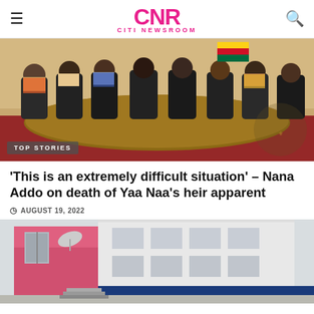CNR CITI NEWSROOM
[Figure (photo): A meeting room scene with people seated around a large conference table with dark leather chairs, colorful traditional clothing visible, Ghanaian flag in background, Ghana coat of arms watermark in lower right. TOP STORIES badge overlay.]
'This is an extremely difficult situation' – Nana Addo on death of Yaa Naa's heir apparent
AUGUST 19, 2022
[Figure (photo): A multi-story building with pink/red and white exterior walls, satellite dish visible, blue signage at bottom.]